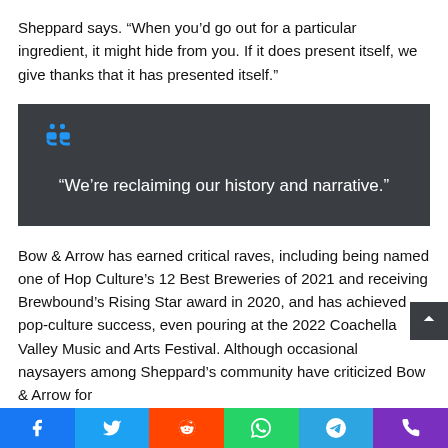Sheppard says. “When you’d go out for a particular ingredient, it might hide from you. If it does present itself, we give thanks that it has presented itself.”
[Figure (other): Dark grey quote box with large blue quotation mark icon and centered white text reading ‘We’re reclaiming our history and narrative.’]
Bow & Arrow has earned critical raves, including being named one of Hop Culture’s 12 Best Breweries of 2021 and receiving Brewbound’s Rising Star award in 2020, and has achieved pop-culture success, even pouring at the 2022 Coachella Valley Music and Arts Festival. Although occasional naysayers among Sheppard’s community have criticized Bow & Arrow for